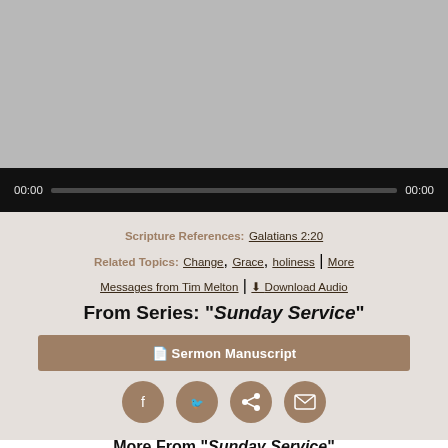[Figure (screenshot): Gray video player area at top of page]
00:00   [progress bar]   00:00
Scripture References: Galatians 2:20 Related Topics: Change, Grace, holiness | More Messages from Tim Melton | Download Audio
From Series: "Sunday Service"
📄 Sermon Manuscript
[Figure (infographic): Row of four social sharing icon buttons: Facebook, Twitter, Share, Email]
More From "Sunday Service"